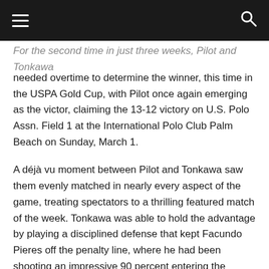[navigation bar with hamburger menu and search icon]
For the second time in just three weeks, Pilot and Tonkawa needed overtime to determine the winner, this time in the USPA Gold Cup, with Pilot once again emerging as the victor, claiming the 13-12 victory on U.S. Polo Assn. Field 1 at the International Polo Club Palm Beach on Sunday, March 1.
A déjà vu moment between Pilot and Tonkawa saw them evenly matched in nearly every aspect of the game, treating spectators to a thrilling featured match of the week. Tonkawa was able to hold the advantage by playing a disciplined defense that kept Facundo Pieres off the penalty line, where he had been shooting an impressive 90 percent entering the game. Keeping pace behind their 10-goal duo of Facundo and Gonzalito Pieres, who combined for all 13 goals, Pilot received its first penalty attempt in the sixth chukker, using the opportunity to send the game into